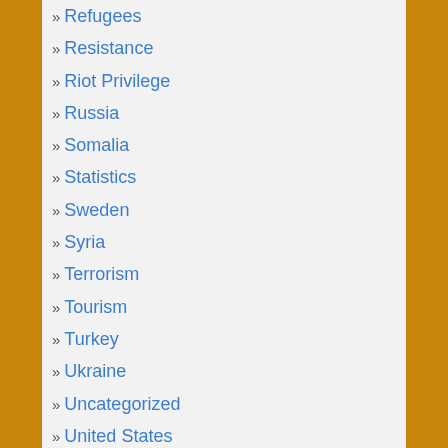» Refugees
» Resistance
» Riot Privilege
» Russia
» Somalia
» Statistics
» Sweden
» Syria
» Terrorism
» Tourism
» Turkey
» Ukraine
» Uncategorized
» United States
» Universities
» Wuhan Flu
Subscribe To Blog Via Email